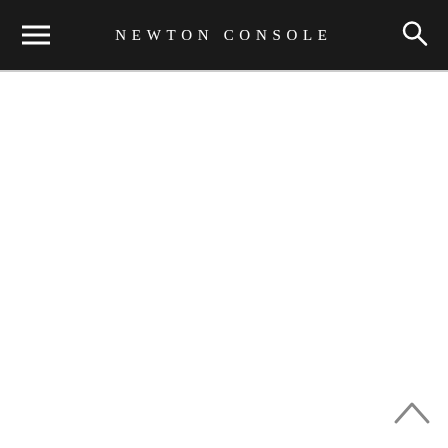NEWTON CONSOLE
[Figure (other): Empty white content area below the navigation header]
[Figure (other): Back to top arrow chevron icon in bottom right corner]